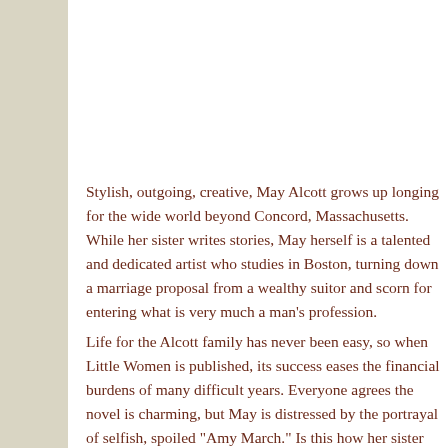Stylish, outgoing, creative, May Alcott grows up longing for the wide world beyond Concord, Massachusetts. While her sister writes stories, May herself is a talented and dedicated artist who studies in Boston, turning down a marriage proposal from a wealthy suitor and scorn for entering what is very much a man's profession.
Life for the Alcott family has never been easy, so when Little Women is published, its success eases the financial burdens of many difficult years. Everyone agrees the novel is charming, but May is distressed by the portrayal of selfish, spoiled "Amy March." Is this how her sister really thinks of her?